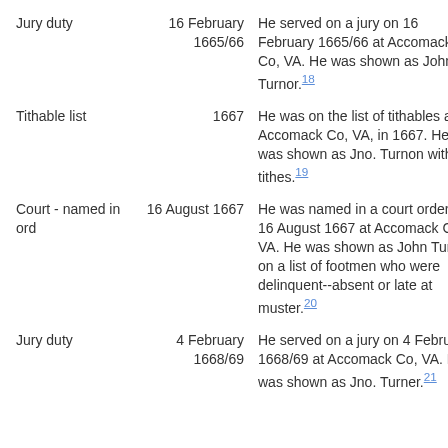| Jury duty | 16 February 1665/66 | He served on a jury on 16 February 1665/66 at Accomack Co, VA. He was shown as John Turnor.18 |
| Tithable list | 1667 | He was on the list of tithables at Accomack Co, VA, in 1667. He was shown as Jno. Turnon with 3 tithes.19 |
| Court - named in ord | 16 August 1667 | He was named in a court order on 16 August 1667 at Accomack Co, VA. He was shown as John Turnor on a list of footmen who were delinquent--absent or late at muster.20 |
| Jury duty | 4 February 1668/69 | He served on a jury on 4 February 1668/69 at Accomack Co, VA. He was shown as Jno. Turner.21 |